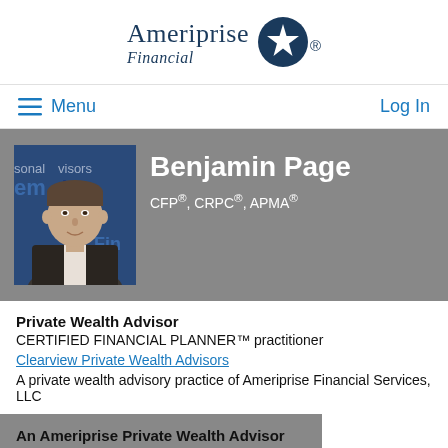[Figure (logo): Ameriprise Financial logo with star emblem]
Menu   Log In
[Figure (photo): Professional headshot of Benjamin Page in front of a blue/navy background with text 'sonal advisors' and 'Fin' visible]
Benjamin Page CFP®, CRPC®, APMA®
Private Wealth Advisor
CERTIFIED FINANCIAL PLANNER™ practitioner
Clearview Private Wealth Advisors
A private wealth advisory practice of Ameriprise Financial Services, LLC
An Ameriprise Private Wealth Advisor
804.217.7926